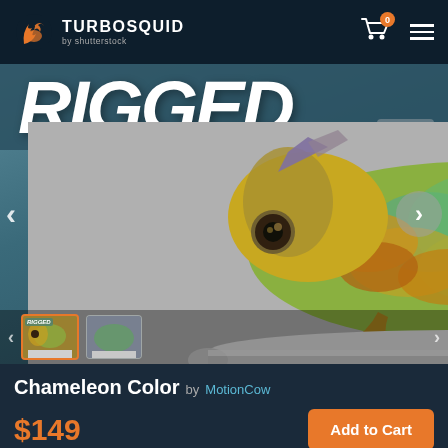[Figure (logo): TurboSquid by Shutterstock logo with orange flame/squid icon]
TURBOSQUID by shutterstock
[Figure (photo): 3D rendered chameleon with colorful scales (yellow, green, teal) perched on a white cylindrical roll, with RIGGED text overlay and image counter '1 of 17']
Chameleon Color by MotionCow
$149
Add to Cart